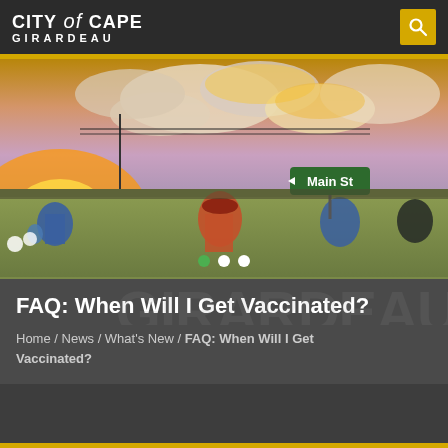CITY of CAPE GIRARDEAU
[Figure (photo): Sunset photo over Cape Girardeau with a street mural depicting historical figures and a Main St street sign]
FAQ: When Will I Get Vaccinated?
Home / News / What's New / FAQ: When Will I Get Vaccinated?